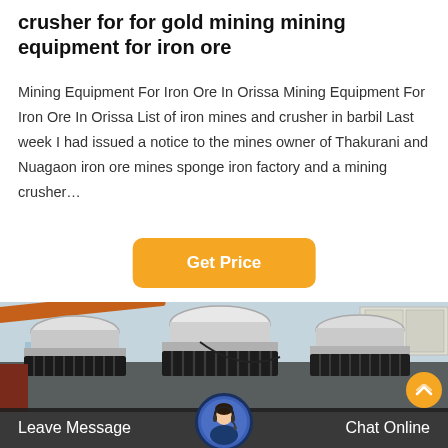crusher for for gold mining mining equipment for iron ore
Mining Equipment For Iron Ore In Orissa Mining Equipment For Iron Ore In Orissa List of iron mines and crusher in barbil Last week I had issued a notice to the mines owner of Thakurani and Nuagaon iron ore mines sponge iron factory and a mining crusher…
[Figure (other): Orange button labeled Get Price]
[Figure (photo): Industrial cone crushers in a mining facility yard, with large white/grey cone crusher machines arranged side by side, black ribbed bases, orange crane arm, and storage containers in background]
Leave Message
Chat Online